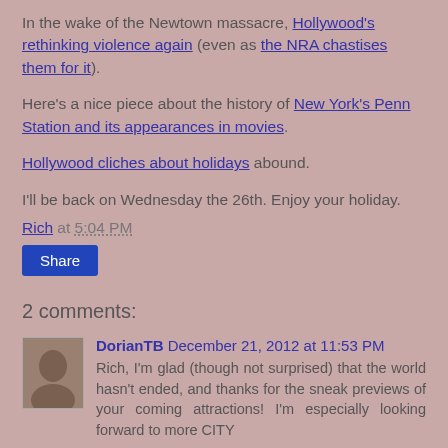In the wake of the Newtown massacre, Hollywood's rethinking violence again (even as the NRA chastises them for it).
Here's a nice piece about the history of New York's Penn Station and its appearances in movies.
Hollywood cliches about holidays abound.
I'll be back on Wednesday the 26th. Enjoy your holiday.
Rich at 5:04 PM
Share
2 comments:
DorianTB December 21, 2012 at 11:53 PM
Rich, I'm glad (though not surprised) that the world hasn't ended, and thanks for the sneak previews of your coming attractions! I'm especially looking forward to more CITY